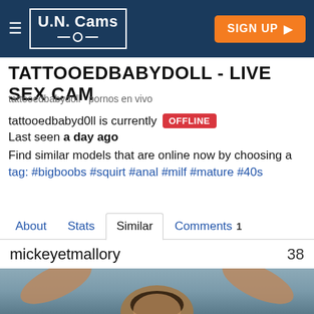U.N. Cams — SIGN UP
TATTOOEDBABYDOLL - LIVE SEX CAM
tattooedbabydoll   pornos en vivo
tattooedbabyd0ll is currently OFFLINE
Last seen a day ago
Find similar models that are online now by choosing a tag: #bigboobs #squirt #anal #milf #mature #40s
About   Stats   Similar   Comments 1
mickeyetmallory   38
[Figure (photo): Webcam preview thumbnail showing a person lying down with arms raised, viewed from above, blurred adult content]